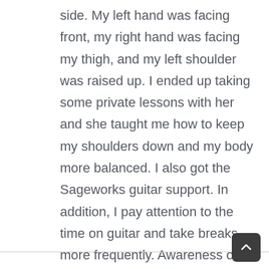side. My left hand was facing front, my right hand was facing my thigh, and my left shoulder was raised up. I ended up taking some private lessons with her and she taught me how to keep my shoulders down and my body more balanced. I also got the Sageworks guitar support. In addition, I pay attention to the time on guitar and take breaks more frequently. Awareness of my body position while playing has increased by leaps and bounds, and I'm feeling much better physically when I play guitar.